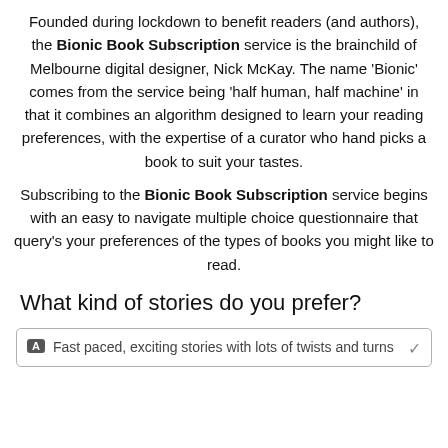Founded during lockdown to benefit readers (and authors), the Bionic Book Subscription service is the brainchild of Melbourne digital designer, Nick McKay. The name 'Bionic' comes from the service being 'half human, half machine' in that it combines an algorithm designed to learn your reading preferences, with the expertise of a curator who hand picks a book to suit your tastes.
Subscribing to the Bionic Book Subscription service begins with an easy to navigate multiple choice questionnaire that query's your preferences of the types of books you might like to read.
What kind of stories do you prefer?
A  Fast paced, exciting stories with lots of twists and turns